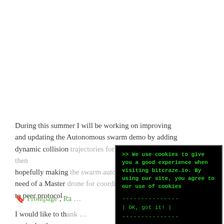During this summer I will be working on improving and updating the Autonomous swarm demo by adding dynamic collision trajectories for each craz-flie and then hopefully making the swarm autonomous without the need of a Master drone for coordination through a peer to peer protocol
I would like to thank ... excited to be par...
Frontpage, Ra...
[Figure (screenshot): Terminal-style cookie consent popup with black background and green monospace text reading: '>> We use cookies to give you a good experience when visiting bitcraze.io. By using our site, you agree to our use of cookies' with an OK button styled as '| OK, got it! |' bordered by dashes.]